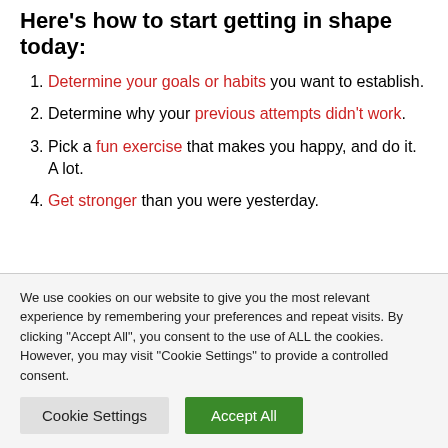Here's how to start getting in shape today:
Determine your goals or habits you want to establish.
Determine why your previous attempts didn't work.
Pick a fun exercise that makes you happy, and do it. A lot.
Get stronger than you were yesterday.
We use cookies on our website to give you the most relevant experience by remembering your preferences and repeat visits. By clicking "Accept All", you consent to the use of ALL the cookies. However, you may visit "Cookie Settings" to provide a controlled consent.